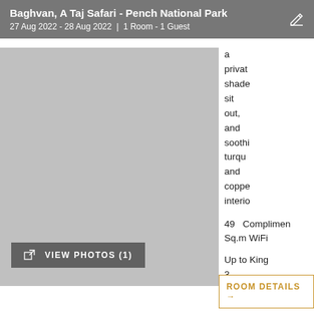Baghvan, A Taj Safari - Pench National Park
27 Aug 2022 - 28 Aug 2022 | 1 Room - 1 Guest
[Figure (photo): Gray placeholder image for room photo]
a private shaded sit out, and soothing turquoise and copper interiors
49 Sq.m   Complimentary WiFi
Up to King
3 guests
VIEW PHOTOS (1)
ROOM DETAILS →